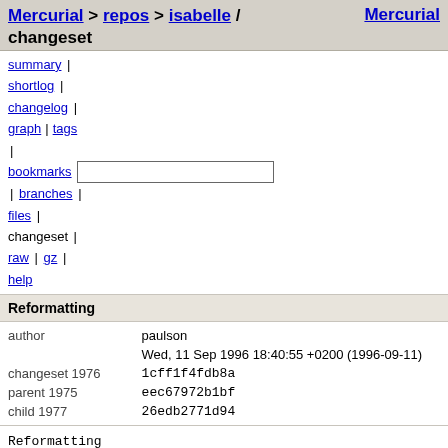Mercurial > repos > isabelle / changeset   Mercurial
summary | shortlog | changelog | graph | tags | bookmarks | branches | files | changeset | raw | gz | help
Reformatting
| author | paulson |  |
|  | Wed, 11 Sep 1996 18:40:55 +0200 (1996-09-11) |  |
| changeset 1976 | 1cff1f4fdb8a |  |
| parent 1975 | eec67972b1bf |  |
| child 1977 | 26edb2771d94 |  |
Reformatting
src/HOL/Auth/NS_Shared.thy   file | annotate | diff | comparison | revisions
src/HOL/Auth/OtwayRees.thy   file | annotate | diff | comparison | revisions